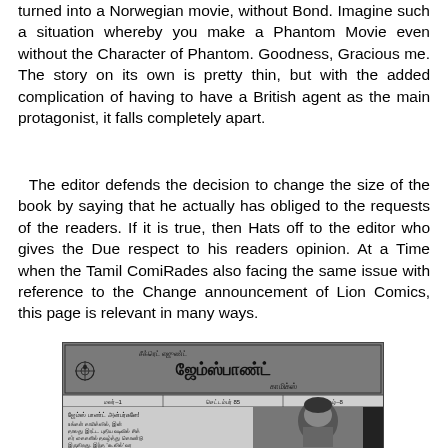turned into a Norwegian movie, without Bond. Imagine such a situation whereby you make a Phantom Movie even without the Character of Phantom. Goodness, Gracious me. The story on its own is pretty thin, but with the added complication of having to have a British agent as the main protagonist, it falls completely apart.
The editor defends the decision to change the size of the book by saying that he actually has obliged to the requests of the readers. If it is true, then Hats off to the editor who gives the Due respect to his readers opinion. At a Time when the Tamil ComiRades also facing the same issue with reference to the Change announcement of Lion Comics, this page is relevant in many ways.
[Figure (illustration): A Tamil comics magazine page header showing 'Secret Agent James Bond Comics' in Tamil script with a target/crosshair icon, followed by publication details bar and a letters column with Tamil text alongside a black and white portrait photo of a person.]